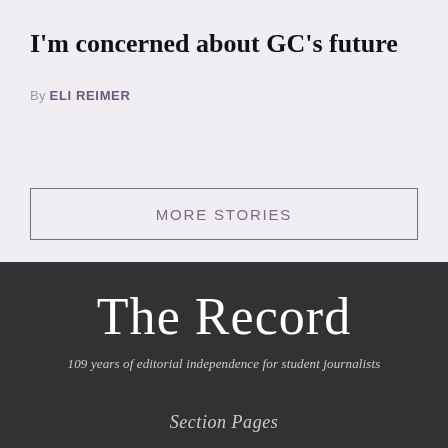I'm concerned about GC's future
By ELI REIMER
MORE STORIES
The Record
109 years of editorial independence for student journalists
Section Pages